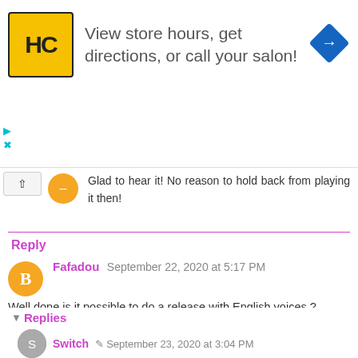[Figure (infographic): Advertisement banner for a salon with HC logo, text 'View store hours, get directions, or call your salon!' and a blue navigation arrow icon. Play and close controls on the left.]
Glad to hear it! No reason to hold back from playing it then!
Reply
Fafadou September 22, 2020 at 5:17 PM
Well done is it possible to do a release with English voices ?
Can't wait the french version :-)
well done.
Reply
▼ Replies
Switch September 23, 2020 at 3:04 PM